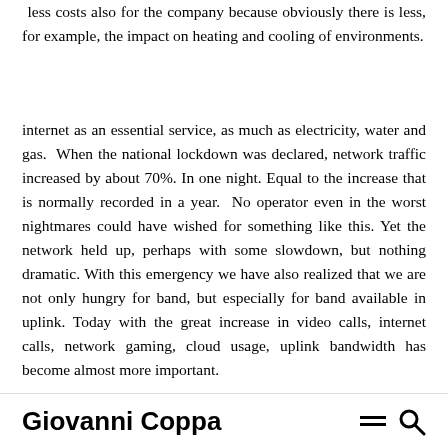less pollution, less costs also for the company because obviously there is less, for example, the impact on heating and cooling of environments.
internet as an essential service, as much as electricity, water and gas. When the national lockdown was declared, network traffic increased by about 70%. In one night. Equal to the increase that is normally recorded in a year. No operator even in the worst nightmares could have wished for something like this. Yet the network held up, perhaps with some slowdown, but nothing dramatic. With this emergency we have also realized that we are not only hungry for band, but especially for band available in uplink. Today with the great increase in video calls, internet calls, network gaming, cloud usage, uplink bandwidth has become almost more important.
Giovanni Coppa